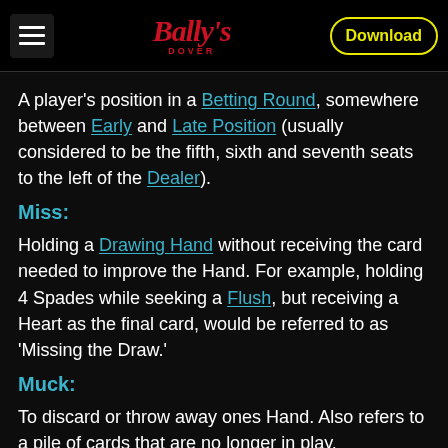Bally's Dover | Download
A player's position in a Betting Round, somewhere between Early and Late Position (usually considered to be the fifth, sixth and seventh seats to the left of the Dealer).
Miss:
Holding a Drawing Hand without receiving the card needed to improve the Hand. For example, holding 4 Spades while seeking a Flush, but receiving a Heart as the final card, would be referred to as 'Missing the Draw.'
Muck:
To discard or throw away ones Hand. Also refers to a pile of cards that are no longer in play.